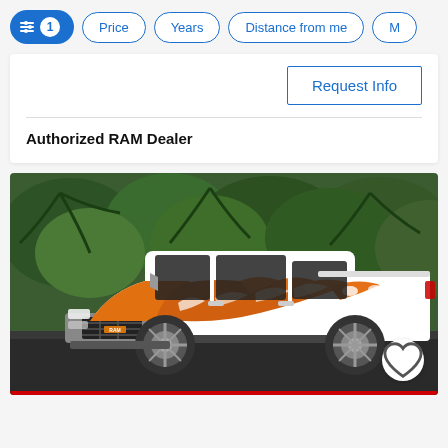Filter controls: [active filter icon with 1] Price | Years | Distance from me | M…
Request Info
Authorized RAM Dealer
[Figure (photo): White RAM pickup truck with orange and white flame graphics on hood and door panels, parked in front of palm trees and tropical greenery. A heart/favorite button is visible in the lower right corner of the photo.]